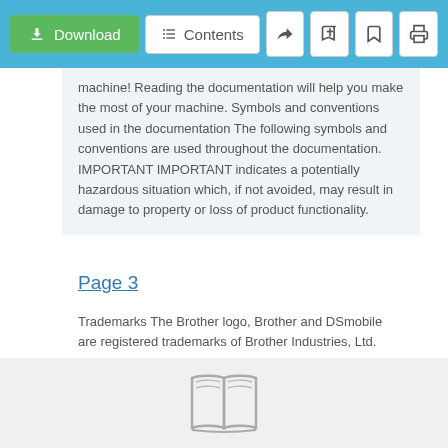Download | Contents
machine! Reading the documentation will help you make the most of your machine. Symbols and conventions used in the documentation The following symbols and conventions are used throughout the documentation. IMPORTANT IMPORTANT indicates a potentially hazardous situation which, if not avoided, may result in damage to property or loss of product functionality.
Page 3
Trademarks The Brother logo, Brother and DSmobile are registered trademarks of Brother Industries, Ltd. Apple, Macintosh, and Mac OS are trademarks of Apple Inc., registered in the United States and other countries. Windows and Windows
This manual is also suitable for:
Ds-720d
[Figure (illustration): Open book icon in light gray outline]